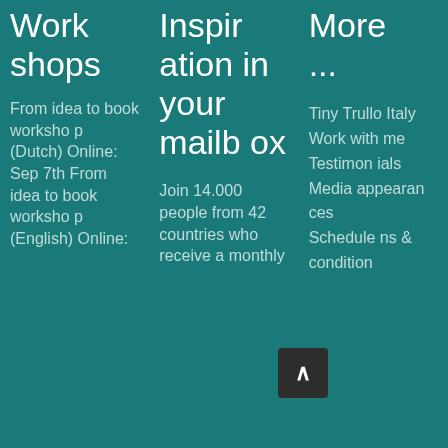Workshops
From idea to book workshop (Dutch) Online: Sep 7th From idea to book workshop (English) Online:
Inspiration in your mailbox
Join 14.000 people from 42 countries who receive a monthly
More ...
Tiny Trullo Italy
Work with me
Testimonials
Media appearances
Schedules & condition